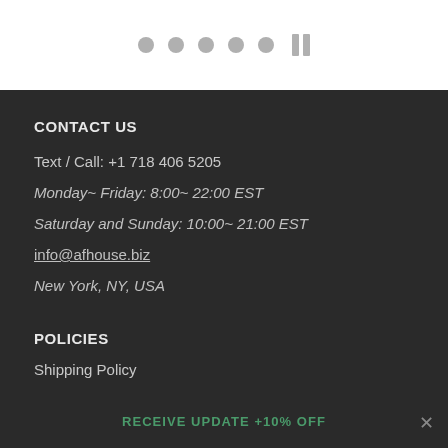[Figure (other): Carousel navigation dots (5 gray circles) and a pause button (two vertical bars)]
CONTACT US
Text / Call: +1 718 406 5205
Monday~ Friday: 8:00~ 22:00 EST
Saturday and Sunday: 10:00~ 21:00 EST
info@afhouse.biz
New York, NY, USA
POLICIES
Shipping Policy
RECEIVE UPDATE +10% OFF